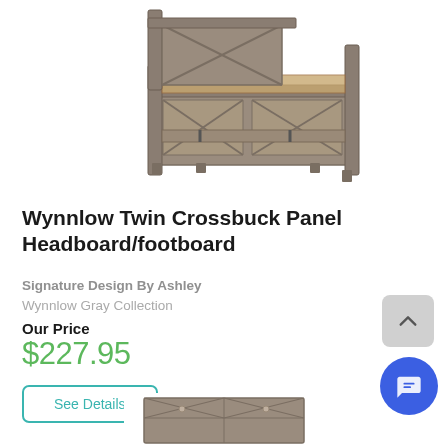[Figure (photo): Wynnlow Twin Crossbuck Panel bed frame shown from the front/side angle, in a gray rustic wood finish with X-crossbuck panel design on headboard and footboard, against a white background.]
Wynnlow Twin Crossbuck Panel Headboard/footboard
Signature Design By Ashley
Wynnlow Gray Collection
Our Price
$227.95
See Details
[Figure (photo): Partial view of a second furniture item (dresser or chest) in matching Wynnlow Gray finish, visible at the bottom of the page.]